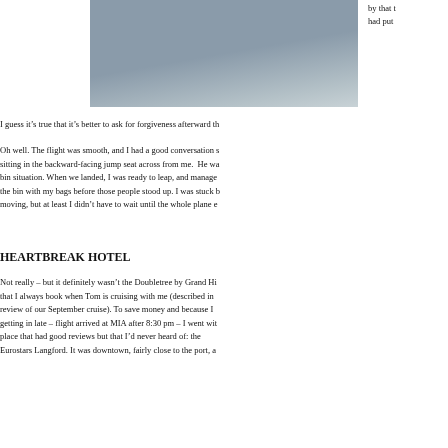[Figure (photo): Outdoor sky/landscape photo, gray-blue tones, appears to show a horizon or skyline, partially visible at top of page]
by that t had put
I guess it’s true that it’s better to ask for forgiveness afterward th
Oh well. The flight was smooth, and I had a good conversation s sitting in the backward-facing jump seat across from me. He wa bin situation. When we landed, I was ready to leap, and manage the bin with my bags before those people stood up. I was stuck b moving, but at least I didn’t have to wait until the whole plane e
HEARTBREAK HOTEL
Not really – but it definitely wasn’t the Doubletree by Grand Hi that I always book when Tom is cruising with me (described in review of our September cruise). To save money and because I getting in late – flight arrived at MIA after 8:30 pm – I went wit place that had good reviews but that I’d never heard of: the Eurostars Langford. It was downtown, fairly close to the port, a